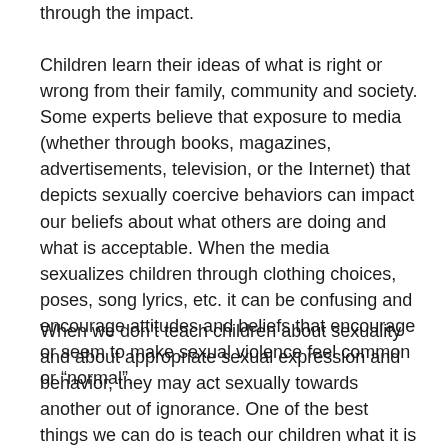through the impact.
Children learn their ideas of what is right or wrong from their family, community and society. Some experts believe that exposure to media (whether through books, magazines, advertisements, television, or the Internet) that depicts sexually coercive behaviors can impact our beliefs about what others are doing and what is acceptable. When the media sexualizes children through clothing choices, poses, song lyrics, etc. it can be confusing and encourage attitudes and beliefs that encourage or seem to make sexual violence feel common or “normal”.
When we don’t teach children about sexuality and about appropriate sexual expression and behavior, they may act sexually towards another out of ignorance. One of the best things we can do is teach our children what it is not okay for them to do with other children. Explain that while